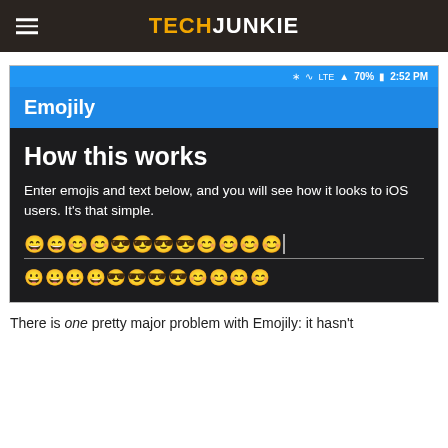TECHJUNKIE
[Figure (screenshot): Android screenshot of Emojily app showing 'How this works' screen with emoji input row and iOS preview row. Status bar shows 70% battery, 2:52 PM. App title bar shows 'Emojily'. Content area has title 'How this works', description text, input field with various smiley/sunglasses emojis, and an iOS-style emoji preview row below.]
There is one pretty major problem with Emojily: it hasn't